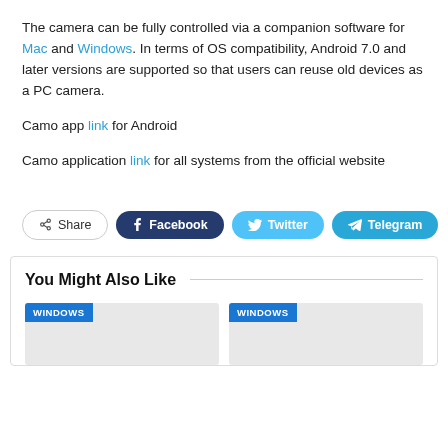The camera can be fully controlled via a companion software for Mac and Windows. In terms of OS compatibility, Android 7.0 and later versions are supported so that users can reuse old devices as a PC camera.
Camo app link for Android
Camo application link for all systems from the official website
[Figure (other): Share buttons row: Share, Facebook, Twitter, Telegram]
You Might Also Like
[Figure (other): Two article cards with WINDOWS tags on grey backgrounds]